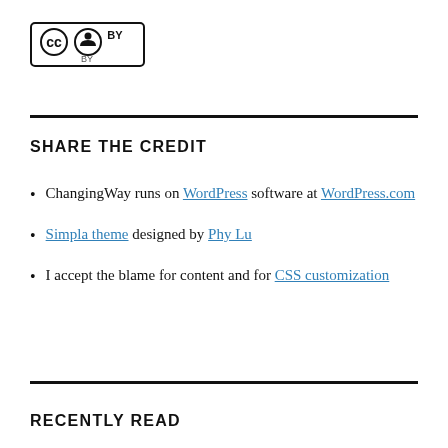[Figure (logo): Creative Commons CC BY license logo badge]
SHARE THE CREDIT
ChangingWay runs on WordPress software at WordPress.com
Simpla theme designed by Phy Lu
I accept the blame for content and for CSS customization
RECENTLY READ